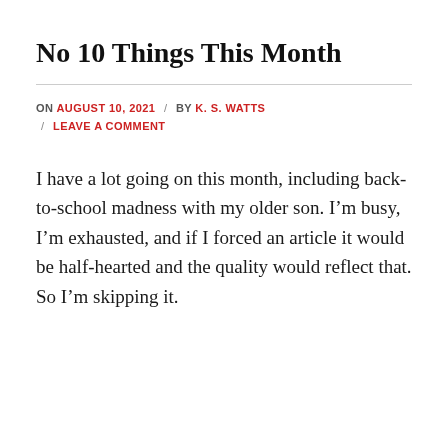No 10 Things This Month
ON AUGUST 10, 2021 / BY K. S. WATTS / LEAVE A COMMENT
I have a lot going on this month, including back-to-school madness with my older son. I’m busy, I’m exhausted, and if I forced an article it would be half-hearted and the quality would reflect that. So I’m skipping it.